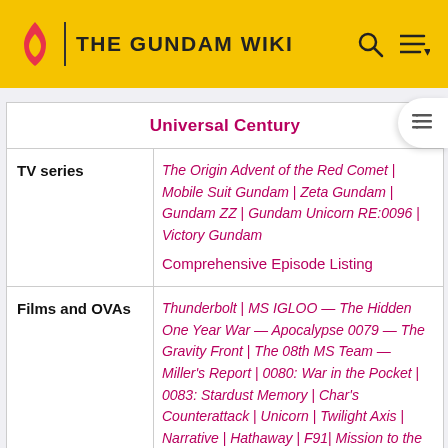THE GUNDAM WIKI
| Universal Century |
| --- |
| TV series | The Origin Advent of the Red Comet | Mobile Suit Gundam | Zeta Gundam | Gundam ZZ | Gundam Unicorn RE:0096 | Victory Gundam
Comprehensive Episode Listing |
| Films and OVAs | Thunderbolt | MS IGLOO — The Hidden One Year War — Apocalypse 0079 — The Gravity Front | The 08th MS Team — Miller's Report | 0080: War in the Pocket | 0083: Stardust Memory | Char's Counterattack | Unicorn | Twilight Axis | Narrative | Hathaway | F91 | Mission to the Rise | Ring of |